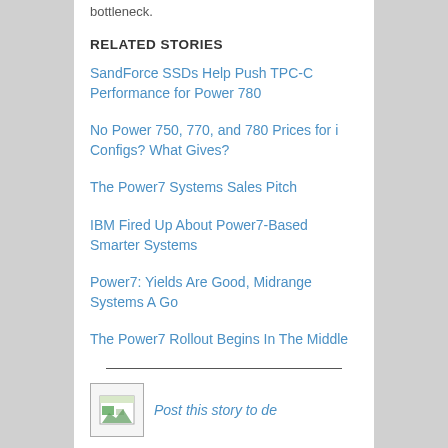bottleneck.
RELATED STORIES
SandForce SSDs Help Push TPC-C Performance for Power 780
No Power 750, 770, and 780 Prices for i Configs? What Gives?
The Power7 Systems Sales Pitch
IBM Fired Up About Power7-Based Smarter Systems
Power7: Yields Are Good, Midrange Systems A Go
The Power7 Rollout Begins In The Middle
Post this story to de